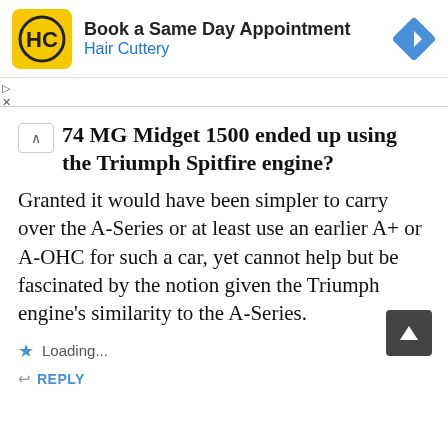[Figure (screenshot): Hair Cuttery advertisement banner with yellow/black logo, 'Book a Same Day Appointment' text and blue navigation arrow icon]
74 MG Midget 1500 ended up using the Triumph Spitfire engine?
Granted it would have been simpler to carry over the A-Series or at least use an earlier A+ or A-OHC for such a car, yet cannot help but be fascinated by the notion given the Triumph engine's similarity to the A-Series.
Loading...
REPLY